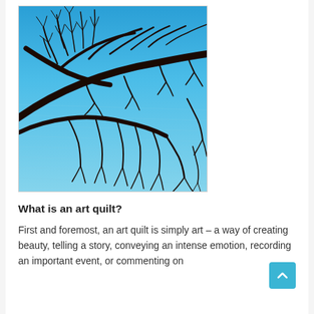[Figure (photo): Art quilt depicting dark brown bare tree branches spread across a bright blue textured background, resembling a winter sky. The branches are silhouetted against the blue fabric with visible quilting stitch texture.]
What is an art quilt?
First and foremost, an art quilt is simply art – a way of creating beauty, telling a story, conveying an intense emotion, recording an important event, or commenting on